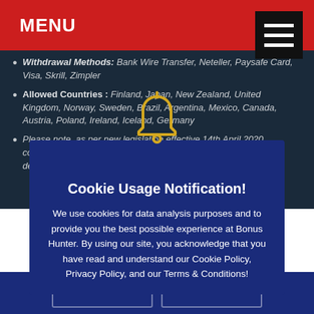MENU
Withdrawal Methods: Bank Wire Transfer, Neteller, Paysafe Card, Visa, Skrill, Zimpler
Allowed Countries : Finland, Japan, New Zealand, United Kingdom, Norway, Sweden, Brazil, Argentina, Mexico, Canada, Austria, Poland, Ireland, Iceland, Germany
Please note, as per new legislation effective 14th April 2020, companies in UK jurisdiction can no longer use Credit Cards for deposits and withdrawals.
Cookie Usage Notification!
We use cookies for data analysis purposes and to provide you the best possible experience at Bonus Hunter. By using our site, you acknowledge that you have read and understand our Cookie Policy, Privacy Policy, and our Terms & Conditions!